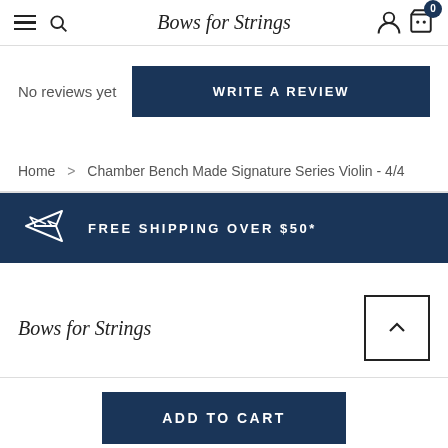Bows for Strings — navigation header with hamburger menu, search, logo, account, and cart (0)
No reviews yet
WRITE A REVIEW
Home > Chamber Bench Made Signature Series Violin - 4/4
FREE SHIPPING OVER $50*
Bows for Strings
ADD TO CART